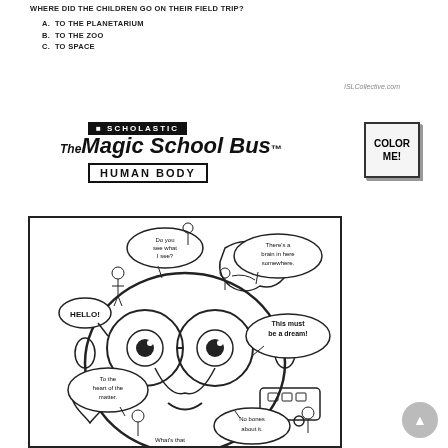WHERE DID THE CHILDREN GO ON THEIR FIELD TRIP?
A.  TO THE PLANETARIUM
B.  TO THE ZOO
C.  TO SPACE
iSLCollective.com
[Figure (illustration): Scholastic The Magic School Bus - Human Body logo with 'Color Me!' tag, and a comic panel showing children inside a human body with speech bubbles: 'Hello!', 'Do you see what I see?', 'There's a brain in here somewhere.', 'This must be a dream!', 'To the heart of the matter.', 'No bones about it.', 'What's that']